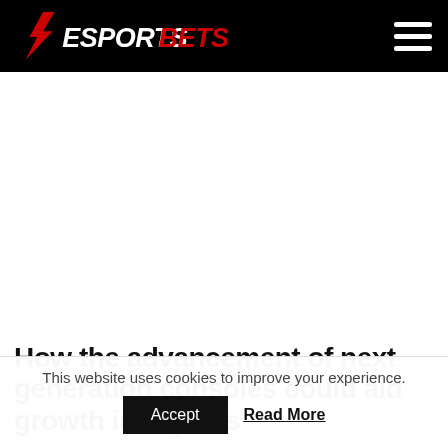ESPORTSBETS24
[Figure (other): White blank space (advertisement placeholder area)]
How the advancement of next generation consoles could aid growth in esports
This website uses cookies to improve your experience.
Accept   Read More